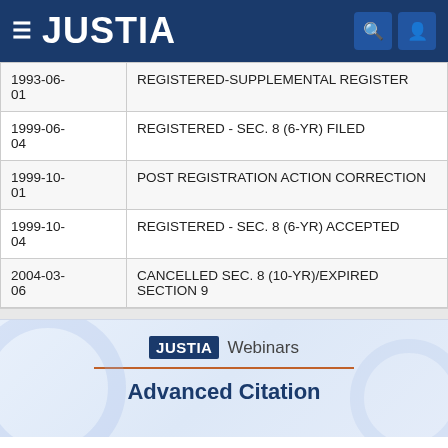JUSTIA
| Date | Status |
| --- | --- |
| 1993-06-01 | REGISTERED-SUPPLEMENTAL REGISTER |
| 1999-06-04 | REGISTERED - SEC. 8 (6-YR) FILED |
| 1999-10-01 | POST REGISTRATION ACTION CORRECTION |
| 1999-10-04 | REGISTERED - SEC. 8 (6-YR) ACCEPTED |
| 2004-03-06 | CANCELLED SEC. 8 (10-YR)/EXPIRED SECTION 9 |
JUSTIA Webinars
Advanced Citation